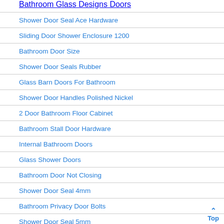Bathroom Glass Designs Doors
Shower Door Seal Ace Hardware
Sliding Door Shower Enclosure 1200
Bathroom Door Size
Shower Door Seals Rubber
Glass Barn Doors For Bathroom
Shower Door Handles Polished Nickel
2 Door Bathroom Floor Cabinet
Bathroom Stall Door Hardware
Internal Bathroom Doors
Glass Shower Doors
Bathroom Door Not Closing
Shower Door Seal 4mm
Bathroom Privacy Door Bolts
Shower Door Seal 5mm